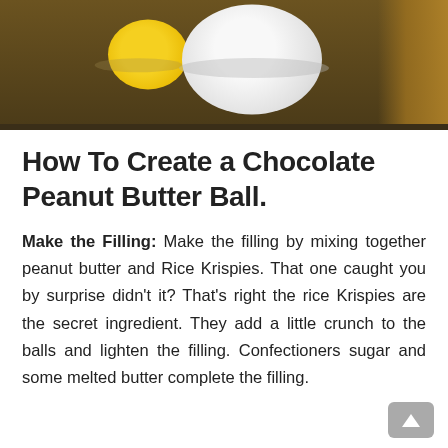[Figure (photo): Photo of baking ingredients: a bowl of white flour/confectioners sugar (center), a small bowl with egg yolk (left), and a wooden cutting board (right), on a dark wooden surface.]
How To Create a Chocolate Peanut Butter Ball.
Make the Filling: Make the filling by mixing together peanut butter and Rice Krispies. That one caught you by surprise didn't it? That's right the rice Krispies are the secret ingredient. They add a little crunch to the balls and lighten the filling. Confectioners sugar and some melted butter complete the filling.